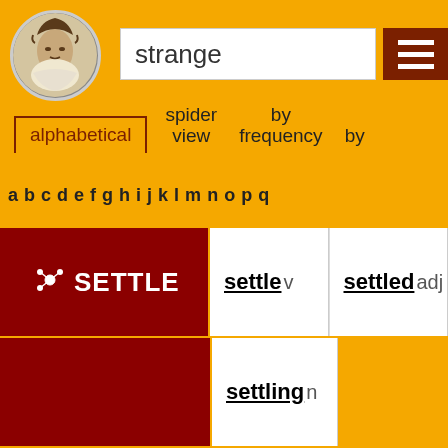[Figure (illustration): Shakespeare portrait in circular frame]
strange
[Figure (other): Hamburger menu icon (three horizontal bars) on dark red background]
alphabetical
spider view
by frequency
by
a b c d e f g h i j k l m n o p q
| SETTLE (with icon) | settle v | settled adj |
|  | settling n |  |
| STATE | something-settled ad |  |